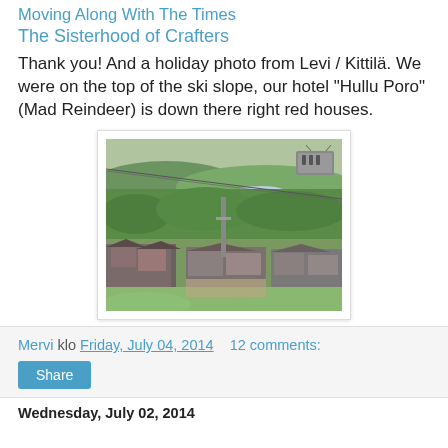Moving Along With The Times
The Sisterhood of Crafters
Thank you! And a holiday photo from Levi / Kittilä. We were on the top of the ski slope, our hotel "Hullu Poro" (Mad Reindeer) is down there right red houses.
[Figure (photo): Aerial/elevated view from a ski slope in Levi/Kittilä, Finland. Shows a gondola/cable car in the upper right, a wide landscape of forests and settlements below, with hotel buildings and ski resort infrastructure visible in the foreground lower area. Green hills and lakes in the background.]
Mervi klo Friday, July 04, 2014    12 comments:
Share
Wednesday, July 02, 2014